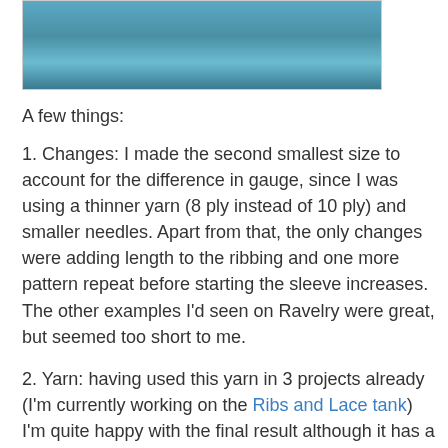[Figure (photo): Photo of a teal/blue lace knitted garment on a wooden surface, partially cropped at top]
A few things:
1. Changes: I made the second smallest size to account for the difference in gauge, since I was using a thinner yarn (8 ply instead of 10 ply) and smaller needles. Apart from that, the only changes were adding length to the ribbing and one more pattern repeat before starting the sleeve increases. The other examples I'd seen on Ravelry were great, but seemed too short to me.
2. Yarn: having used this yarn in 3 projects already (I'm currently working on the Ribs and Lace tank) I'm quite happy with the final result although it has a tendency to split sometimes.
3. Blocking: it did wonders for this project. Trust me, when I finished all the seaming it didn't look so nice and tidy. A quick wash and it all came together. My not so perfect stitches